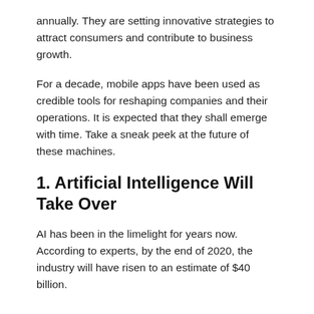annually. They are setting innovative strategies to attract consumers and contribute to business growth.
For a decade, mobile apps have been used as credible tools for reshaping companies and their operations. It is expected that they shall emerge with time. Take a sneak peek at the future of these machines.
1. Artificial Intelligence Will Take Over
AI has been in the limelight for years now. According to experts, by the end of 2020, the industry will have risen to an estimate of $40 billion.